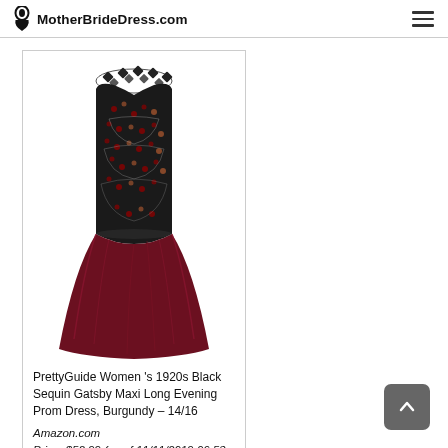MotherBrideDress.com
[Figure (photo): A mermaid-style evening gown with a black sequin/beaded top bodice and burgundy/wine colored chiffon skirt, displayed on a white background in a product card.]
PrettyGuide Women 's 1920s Black Sequin Gatsby Maxi Long Evening Prom Dress, Burgundy – 14/16
Amazon.com
Price: $52.99 (as of 11/11/2019 06:53 PST- Details)